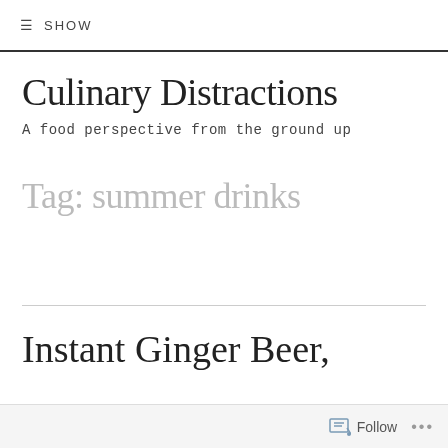≡ SHOW
Culinary Distractions
A food perspective from the ground up
Tag: summer drinks
Instant Ginger Beer,